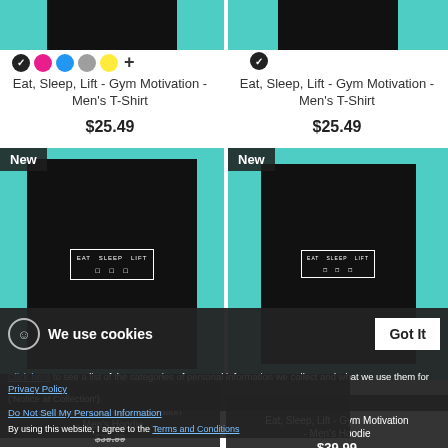[Figure (photo): Two product listing columns showing Eat Sleep Lift Men's T-Shirts with color swatches, prices, and hoodie products below with New badges. Cookie consent bar overlay.]
Eat, Sleep, Lift - Gym Motivation - Men's T-Shirt $25.49
Eat, Sleep, Lift - Gym Motivation - Men's T-Shirt $25.49
We use cookies
Click here to see a list of the categories of personal information we collect and what we use them for ('Notice at Collection').
Privacy Policy
Do Not Sell My Personal Information
By using this website, I agree to the Terms and Conditions
Eat, Sleep, Lift - Gym Motivation - Men's Hoodie
Eat, Sleep, Lift - Gym Motivation - Men's Hoodie $39.99